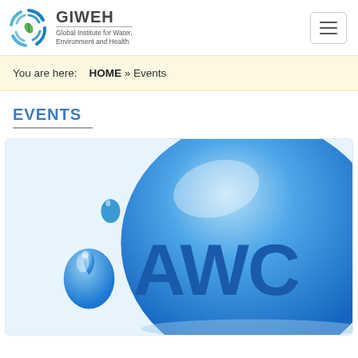GIWEH — Global Institute for Water, Environment and Health
You are here: HOME » Events
EVENTS
[Figure (logo): AWC logo — large blue glossy spherical bubble with 'AWC' text and water drop icon on white/light blue background]